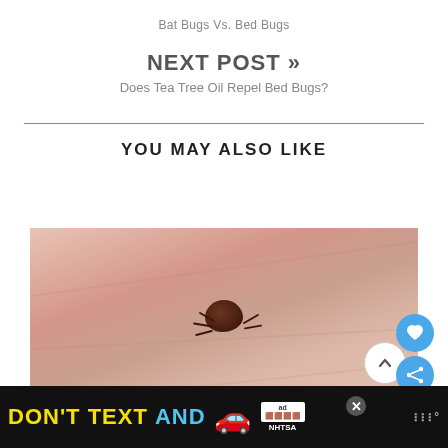Bat Bugs Vs. Bed Bugs
NEXT POST »
Does Tea Tree Oil Repel Bed Bugs?
YOU MAY ALSO LIKE
[Figure (photo): Close-up photo of a small brown bed bug or similar insect on human skin (palm of hand), showing the bug's body and legs against pinkish skin texture.]
[Figure (other): Advertisement banner: DON'T TEXT AND [car emoji] with ad badge, NHTSA logo, and weather widget icon on black background.]